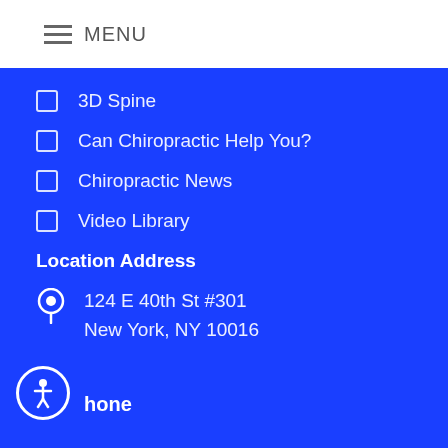MENU
3D Spine
Can Chiropractic Help You?
Chiropractic News
Video Library
Location Address
124 E 40th St #301
New York, NY 10016
Phone